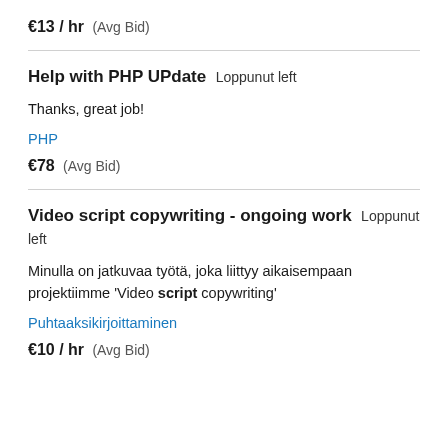€13 / hr  (Avg Bid)
Help with PHP UPdate  Loppunut left
Thanks, great job!
PHP
€78  (Avg Bid)
Video script copywriting - ongoing work  Loppunut left
Minulla on jatkuvaa työtä, joka liittyy aikaisempaan projektiimme 'Video script copywriting'
Puhtaaksikirjoittaminen
€10 / hr  (Avg Bid)